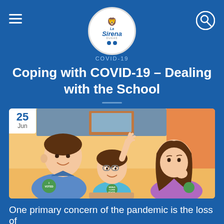[Figure (logo): La Sirena Dugas logo in circular badge with lion illustration and social media icons]
COVID-19
Coping with COVID-19 – Dealing with the School
[Figure (illustration): Cartoon illustration of a family — father in blue shirt with 'I Voted' badge, child with glasses and teal shirt with a badge, and mother in purple top — sitting together and talking. Date badge showing '25 Jun' in top left corner.]
One primary concern of the pandemic is the loss of